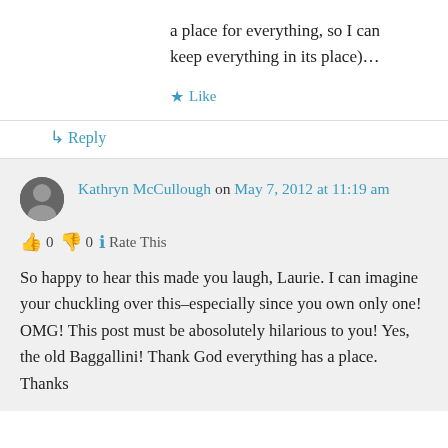a place for everything, so I can keep everything in its place)…
★ Like
↳ Reply
Kathryn McCullough on May 7, 2012 at 11:19 am
👍 0 👎 0 ℹ Rate This
So happy to hear this made you laugh, Laurie. I can imagine your chuckling over this–especially since you own only one! OMG! This post must be abosolutely hilarious to you! Yes, the old Baggallini! Thank God everything has a place. Thanks